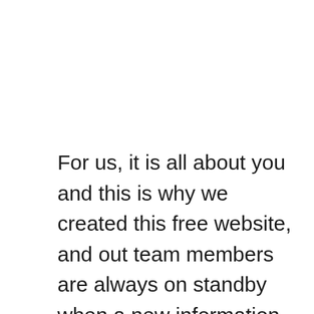For us, it is all about you and this is why we created this free website, and out team members are always on standby when a new information is published or if we get consumers emails about Tectura Corporation phone number or other information for Tectura Corporation and other companies and organizations. If you find any new information or if you find a problem with Tectura Corporation phone number, we'd appreciate your assistance by writing us on